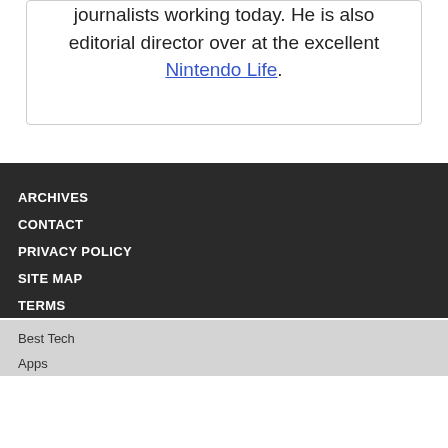journalists working today. He is also editorial director over at the excellent Nintendo Life.
ARCHIVES
CONTACT
PRIVACY POLICY
SITE MAP
TERMS
Best Tech
Apps